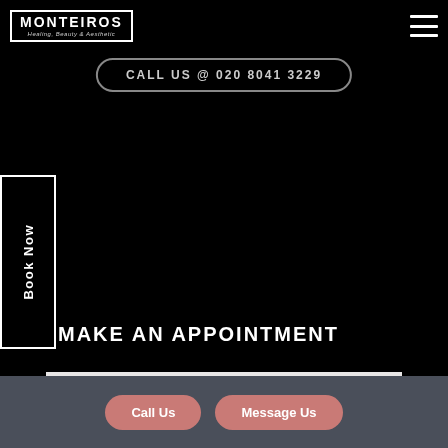MONTEIROS Healing, Beauty & Aesthetic
CALL US @ 020 8041 3229
Book Now
MAKE AN APPOINTMENT
Name
Email Address
Call Us
Message Us